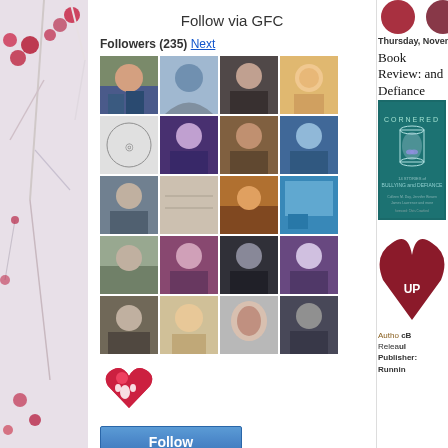[Figure (screenshot): Left decorative floral strip with berries and white branches on grey background]
Follow via GFC
Followers (235) Next
[Figure (photo): Grid of 21 follower avatar photos in 4 columns]
[Figure (photo): Red broken heart logo icon]
Follow
Follow via BlogLovin'
Thursday, November 29,
Book Review: and Defiance
[Figure (photo): Book cover: Cornered - 14 Stories of Bullying and Defiance, teal/dark cover with glowing mason jar and butterfly]
Autho cB
Relea ul
Publisher: Runnin